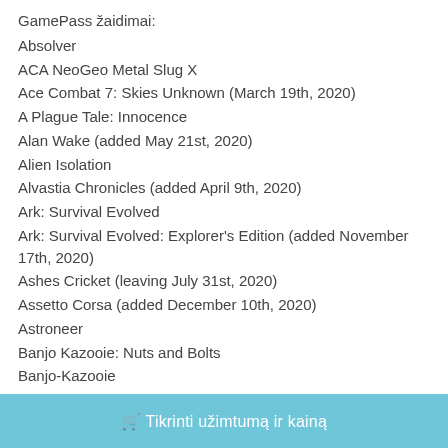GamePass žaidimai:
Absolver
ACA NeoGeo Metal Slug X
Ace Combat 7: Skies Unknown (March 19th, 2020)
A Plague Tale: Innocence
Alan Wake (added May 21st, 2020)
Alien Isolation
Alvastia Chronicles (added April 9th, 2020)
Ark: Survival Evolved
Ark: Survival Evolved: Explorer's Edition (added November 17th, 2020)
Ashes Cricket (leaving July 31st, 2020)
Assetto Corsa (added December 10th, 2020)
Astroneer
Banjo Kazooie: Nuts and Bolts
Banjo-Kazooie
Banjo-Tooie
🛒 Tikrinti užimtumą ir kainą